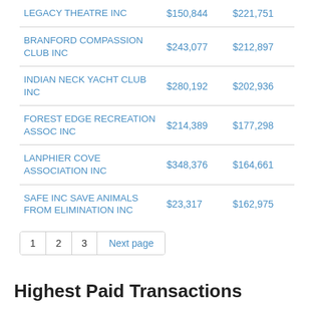| Organization | Amount 1 | Amount 2 |
| --- | --- | --- |
| LEGACY THEATRE INC | $150,844 | $221,751 |
| BRANFORD COMPASSION CLUB INC | $243,077 | $212,897 |
| INDIAN NECK YACHT CLUB INC | $280,192 | $202,936 |
| FOREST EDGE RECREATION ASSOC INC | $214,389 | $177,298 |
| LANPHIER COVE ASSOCIATION INC | $348,376 | $164,661 |
| SAFE INC SAVE ANIMALS FROM ELIMINATION INC | $23,317 | $162,975 |
1  2  3  Next page
Highest Paid Transactions